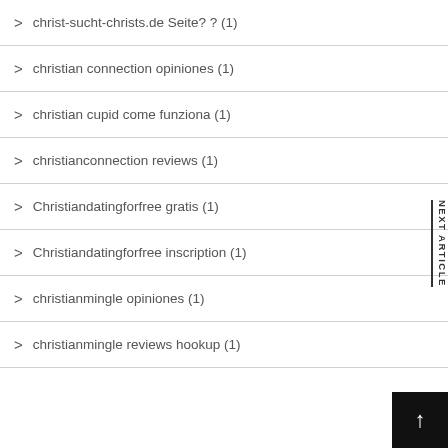christ-sucht-christs.de Seite? ? (1)
christian connection opiniones (1)
christian cupid come funziona (1)
christianconnection reviews (1)
Christiandatingforfree gratis (1)
Christiandatingforfree inscription (1)
christianmingle opiniones (1)
christianmingle reviews hookup (1)